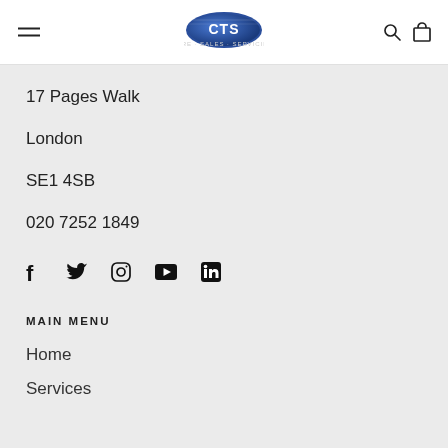CTS Radios — Hire · Sales · Servicing (navigation header)
17 Pages Walk
London
SE1 4SB
020 7252 1849
[Figure (other): Social media icons: Facebook, Twitter, Instagram, YouTube, LinkedIn]
MAIN MENU
Home
Services